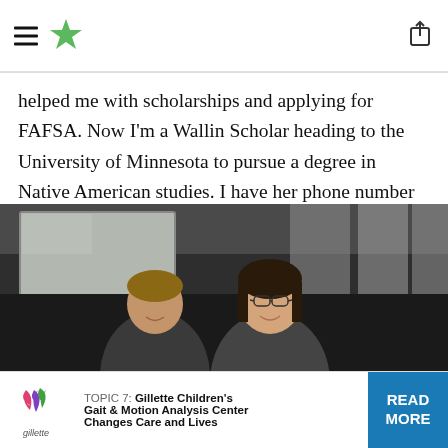[Navigation header with hamburger menu, star logo, and share icon]
helped me with scholarships and applying for FAFSA. Now I'm a Wallin Scholar heading to the University of Minnesota to pursue a degree in Native American studies. I have her phone number and plan to stay connected. She helped me understand that I could do anything I put my mind to.
[Figure (photo): Two people (a woman and a younger person with glasses) sitting in a classroom with whiteboards visible in the background.]
TOPIC 7: Gillette Children's Gait & Motion Analysis Center Changes Care and Lives — READ MORE (advertisement banner)